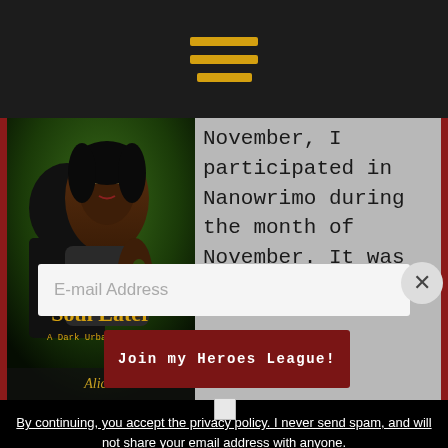[Figure (other): Hamburger menu icon with three gold/yellow horizontal bars on dark background]
[Figure (illustration): Book cover for 'The Soul Eater: A Dark Urban Fantasy' showing a woman with dark skin and a man behind her on a green dark background]
November, I participated in Nanowrimo during the month of November. It was an
E-mail Address
Join my Heroes League!
By continuing, you accept the privacy policy. I never send spam, and will not share your email address with anyone.